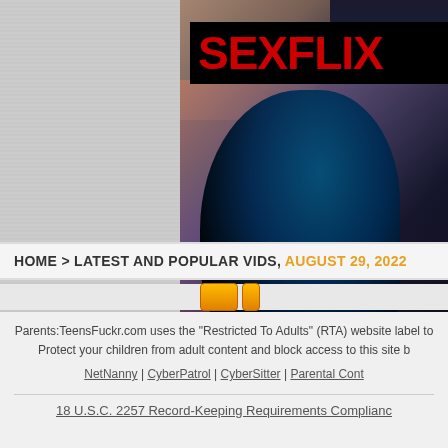[Figure (photo): SEXFLIX advertisement banner showing a person with dark blue/black hair, with text overlay 'You Won't Even Las...' at bottom]
HOME > LATEST AND POPULAR
HOME > LATEST AND POPULAR VIDS, AUGUST 29, 2022
Parents:TeensFuckr.com uses the "Restricted To Adults" (RTA) website label to help parents. Protect your children from adult content and block access to this site by using parental controls.
NetNanny | CyberPatrol | CyberSitter | Parental Cont...
18 U.S.C. 2257 Record-Keeping Requirements Complianc...